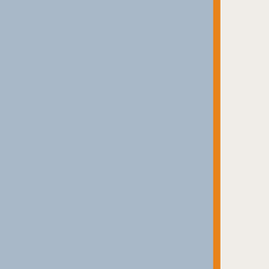dissatisfied. Create a culture where they come in excited and go hom
Mark Herbick and Tim Shea: Me
9-10 a.m., W
Mergers and acquisitions (M&A) activi two M&A experts specializing in clea conditions, how to best capitalize on th M&
Phil Duffy, Jon Hill, Nick Powle
9-10 a.m., T
Technological advancements in the c hurdles, both expected and unexpecte create. Learn from cleaning industry changing for tomorrow — from floor ro drone cleani
EDUC
This year's schedule includes more and networking events covering indu strategies to boo